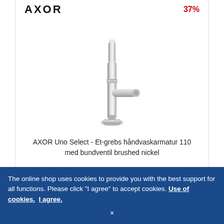AXOR
37%
[Figure (photo): Chrome bathroom faucet - AXOR Uno Select single-lever basin mixer 110 with brushed nickel finish, shown in a tall cylindrical design with a horizontal spout and base plate]
AXOR Uno Select - Et-grebs håndvaskarmatur 110 med bundventil brushed nickel
DKK 5,731.15*
DKK 3,580.64
Delivery time: ■■■ omkring 8-12 uger
The online shop uses cookies to provide you with the best support for all functions. Please click "I agree" to accept cookies. Use of cookies. I agree.